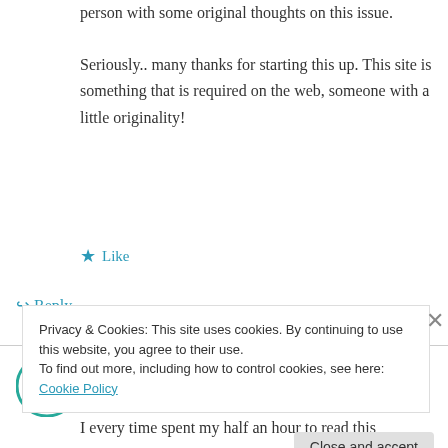person with some original thoughts on this issue.
Seriously.. many thanks for starting this up. This site is something that is required on the web, someone with a little originality!
★ Like
↪ Reply
best acne treatment on July 14, 2014 at 5:07 PM
I every time spent my half an hour to read this
Privacy & Cookies: This site uses cookies. By continuing to use this website, you agree to their use.
To find out more, including how to control cookies, see here: Cookie Policy
Close and accept